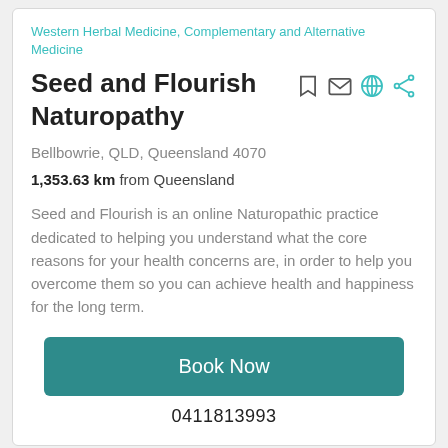Western Herbal Medicine, Complementary and Alternative Medicine
Seed and Flourish Naturopathy
Bellbowrie, QLD, Queensland 4070
1,353.63 km from Queensland
Seed and Flourish is an online Naturopathic practice dedicated to helping you understand what the core reasons for your health concerns are, in order to help you overcome them so you can achieve health and happiness for the long term.
Book Now
0411813993
[Figure (photo): Partial view of a person, likely a practitioner, shown from below the frame — bottom card preview.]